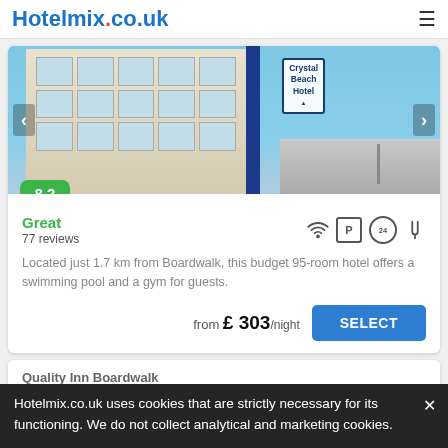Hotelmix.co.uk
[Figure (photo): Hotel exterior photo showing Crystal Beach Hotel building with balconies and a boardwalk/street scene]
Great
77 reviews
Located just 1.7 km from Boardwalk, this budget 95-room hotel offers a swimming pool and a gym for guests.
from £ 303/night
Quality Inn Boardwalk
Hotelmix.co.uk uses cookies that are strictly necessary for its functioning. We do not collect analytical and marketing cookies.